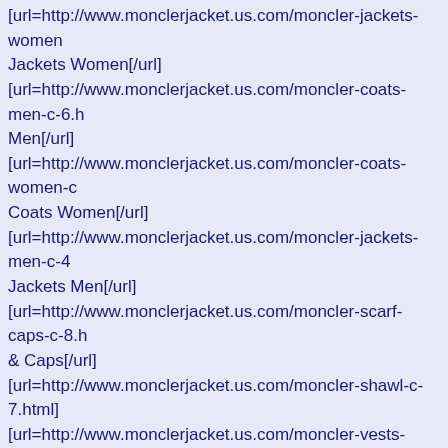[url=http://www.monclerjacket.us.com/moncler-jackets-women... Jackets Women[/url] [url=http://www.monclerjacket.us.com/moncler-coats-men-c-6.h... Men[/url] [url=http://www.monclerjacket.us.com/moncler-coats-women-c... Coats Women[/url] [url=http://www.monclerjacket.us.com/moncler-jackets-men-c-4... Jackets Men[/url] [url=http://www.monclerjacket.us.com/moncler-scarf-caps-c-8.h... & Caps[/url] [url=http://www.monclerjacket.us.com/moncler-shawl-c-7.html] [url=http://www.monclerjacket.us.com/moncler-vests-men-c-3.h... Men[/url] [url=http://www.monclerjacket.us.com/moncler-vests-women-c... Vests Women[/url] Featured - [url=http://www.monclerjacket.us.com/featured_prod... [/url] [url=http://www.monclerjacket.us.com/moncler-loire-coat-wom... with-button-ddark-coffee-p-494.html] [img]http://www.monclerjacket.us.com/images/_small//moncler... Coats-Women/Moncler-Loire-Coat-Women-Fur-Hoodie-Zip-W... 4.jpg[/img]Moncler Loire Coat Women Fur Hoodie Zip With B... Coffee[/url] [url=http://www.monclerjacket.us.com/moncler-loire-coat-wom... with-button-ddark-coffee-p-494.html]Moncler Loire Coat Wom...